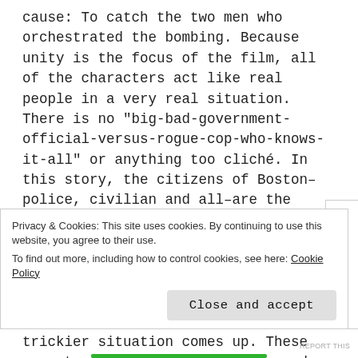cause: To catch the two men who orchestrated the bombing. Because unity is the focus of the film, all of the characters act like real people in a very real situation. There is no "big-bad-government-official-versus-rogue-cop-who-knows-it-all" or anything too cliché. In this story, the citizens of Boston–police, civilian and all–are the heroes and the bombers are the enemies. Any infighting that happens between the law enforcement characters and the government agents is short-lived when a new development in the case emerges or an even trickier situation comes up. These moments cast aside all petty agendas and
Privacy & Cookies: This site uses cookies. By continuing to use this website, you agree to their use.
To find out more, including how to control cookies, see here: Cookie Policy
[Close and accept]